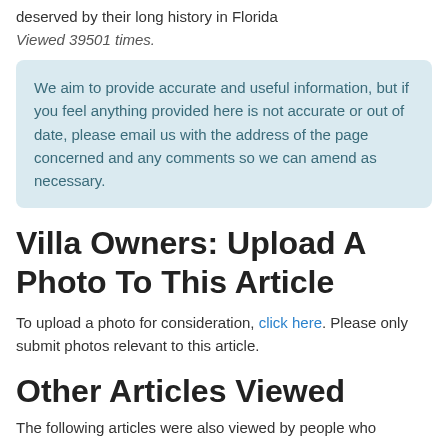deserved by their long history in Florida
Viewed 39501 times.
We aim to provide accurate and useful information, but if you feel anything provided here is not accurate or out of date, please email us with the address of the page concerned and any comments so we can amend as necessary.
Villa Owners: Upload A Photo To This Article
To upload a photo for consideration, click here. Please only submit photos relevant to this article.
Other Articles Viewed
The following articles were also viewed by people who